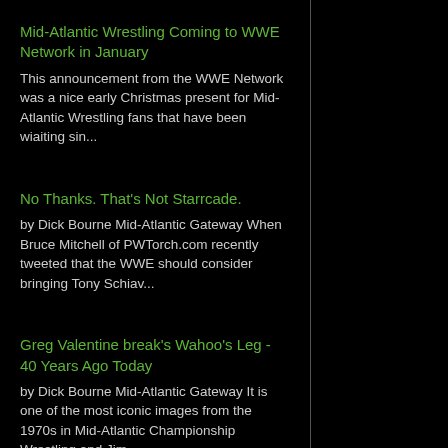Mid-Atlantic Wrestling Coming to WWE Network in January
This announcement from the WWE Network was a nice early Christmas present for Mid-Atlantic Wrestling fans that have been wiaiting sin...
No Thanks. That's Not Starrcade.
by Dick Bourne Mid-Atlantic Gateway When Bruce Mitchell of PWTorch.com recently tweeted that the WWE should consider bringing Tony Schiav...
Greg Valentine break's Wahoo's Leg - 40 Years Ago Today
by Dick Bourne Mid-Atlantic Gateway It is one of the most iconic images from the 1970s in Mid-Atlantic Championship Wrestling and Jim ...